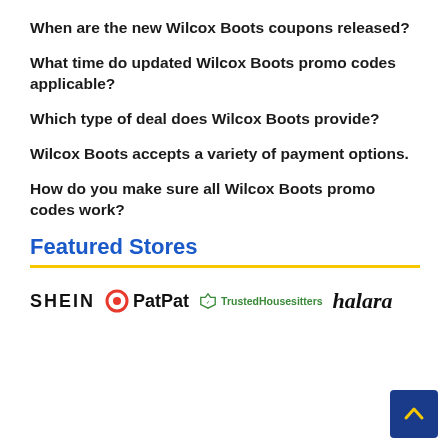When are the new Wilcox Boots coupons released?
What time do updated Wilcox Boots promo codes applicable?
Which type of deal does Wilcox Boots provide?
Wilcox Boots accepts a variety of payment options.
How do you make sure all Wilcox Boots promo codes work?
Featured Stores
[Figure (logo): Logos row: SHEIN, PatPat, TrustedHousesitters, halara]